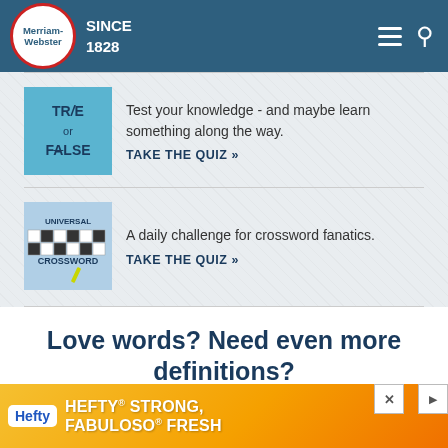Merriam-Webster SINCE 1828
[Figure (illustration): True or False quiz thumbnail - blue square with text TR/E or FXLSE]
Test your knowledge - and maybe learn something along the way.
TAKE THE QUIZ »
[Figure (illustration): Universal Crossword thumbnail - crossword grid with pencil]
A daily challenge for crossword fanatics.
TAKE THE QUIZ »
Love words? Need even more definitions?
Subscribe to America's largest dictionary and get thousands more definitions and advanced search—ad free Merriam-Webster unabridged
[Figure (other): Hefty advertisement banner: HEFTY STRONG, FABULOSO FRESH]